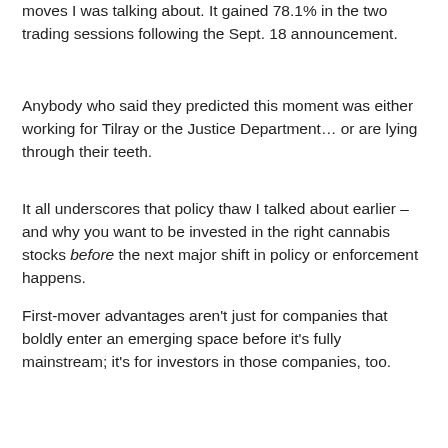moves I was talking about. It gained 78.1% in the two trading sessions following the Sept. 18 announcement.
Anybody who said they predicted this moment was either working for Tilray or the Justice Department… or are lying through their teeth.
It all underscores that policy thaw I talked about earlier – and why you want to be invested in the right cannabis stocks before the next major shift in policy or enforcement happens.
First-mover advantages aren't just for companies that boldly enter an emerging space before it's fully mainstream; it's for investors in those companies, too.
Speaking of early movers, I know you might be wondering if they've missed the boat entirely on the Canadian pot stock boom.
Well, I've analyzed the data on just about every Canadian company out there… as well as looked at the existing and future market opportunity.  And early next week, I'll be back here to answer that very question for you.